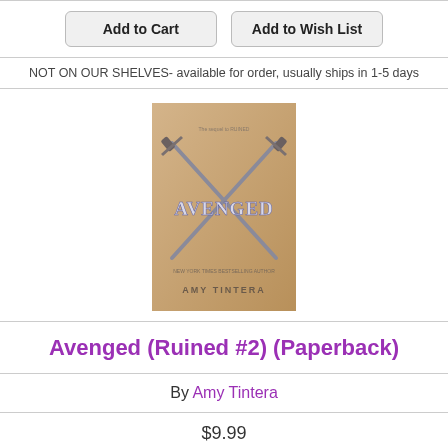Add to Cart   Add to Wish List
NOT ON OUR SHELVES- available for order, usually ships in 1-5 days
[Figure (photo): Book cover of Avenged by Amy Tintera, showing crossed swords on a tan/sandy background with metallic text reading AVENGED and author name AMY TINTERA at the bottom]
Avenged (Ruined #2) (Paperback)
By Amy Tintera
$9.99
Add to Cart   Add to Wish List